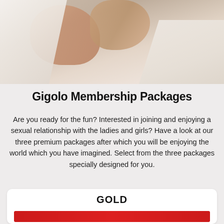[Figure (photo): A photo of a person lying in white bed sheets, partially covered, warm skin tones visible against white linen background.]
Gigolo Membership Packages
Are you ready for the fun? Interested in joining and enjoying a sexual relationship with the ladies and girls? Have a look at our three premium packages after which you will be enjoying the world which you have imagined. Select from the three packages specially designed for you.
GOLD